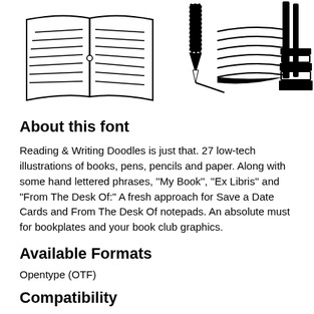[Figure (illustration): A banner of black and white doodle illustrations showing books, a fountain pen nib writing, an open book, pencils/pens upright, and a stack of books, partially cropped at the edges.]
About this font
Reading & Writing Doodles is just that. 27 low-tech illustrations of books, pens, pencils and paper. Along with some hand lettered phrases, ''My Book'', ''Ex Libris'' and "From The Desk Of:" A fresh approach for Save a Date Cards and From The Desk Of notepads. An absolute must for bookplates and your book club graphics.
Available Formats
Opentype (OTF)
Compatibility